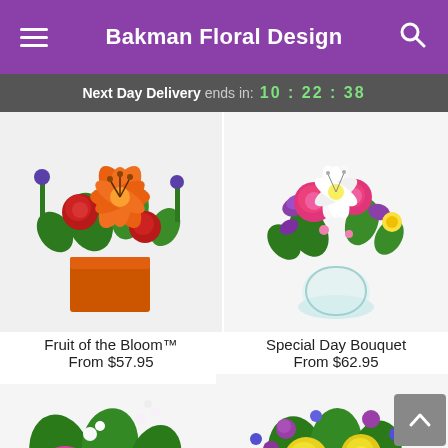Bakman Floral Design
Next Day Delivery ends in: 10:22:38
[Figure (photo): Orange lily and red rose floral arrangement in an orange cube vase]
Fruit of the Bloom™
From $57.95
[Figure (photo): Pink roses, white lilies and purple flowers in a glass round vase]
Special Day Bouquet
From $62.95
[Figure (photo): Pink gerbera daisies and mixed flowers bouquet]
[Figure (photo): Yellow roses and mixed colorful flowers bouquet]